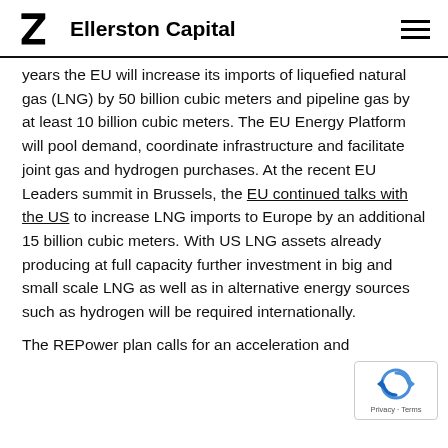Ellerston Capital
years the EU will increase its imports of liquefied natural gas (LNG) by 50 billion cubic meters and pipeline gas by at least 10 billion cubic meters. The EU Energy Platform will pool demand, coordinate infrastructure and facilitate joint gas and hydrogen purchases. At the recent EU Leaders summit in Brussels, the EU continued talks with the US to increase LNG imports to Europe by an additional 15 billion cubic meters. With US LNG assets already producing at full capacity further investment in big and small scale LNG as well as in alternative energy sources such as hydrogen will be required internationally.
The REPower plan calls for an acceleration and